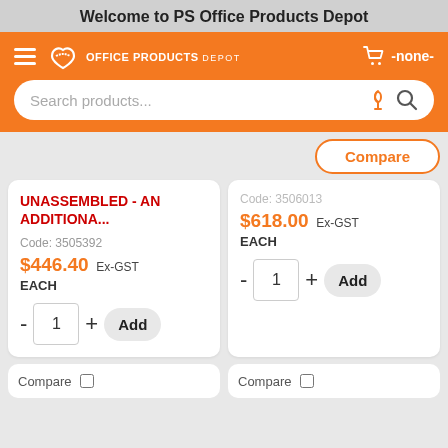Welcome to PS Office Products Depot
[Figure (screenshot): Navigation bar with hamburger menu, Office Products Depot logo, and shopping cart showing -none-]
[Figure (screenshot): Search bar with placeholder 'Search products...' and microphone and search icons]
Compare
UNASSEMBLED - AN ADDITIONA...
Code: 3505392
$446.40 Ex-GST
EACH
- 1 + Add
Code: 3506013
$618.00 Ex-GST
EACH
- 1 + Add
Compare   Compare